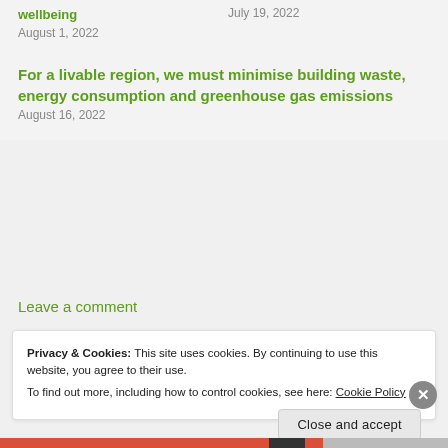wellbeing
August 1, 2022
July 19, 2022
For a livable region, we must minimise building waste, energy consumption and greenhouse gas emissions
August 16, 2022
Leave a comment
Privacy & Cookies: This site uses cookies. By continuing to use this website, you agree to their use.
To find out more, including how to control cookies, see here: Cookie Policy
Close and accept